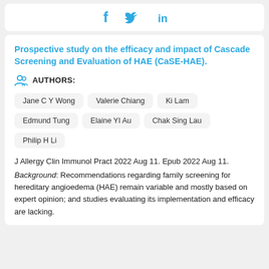[Figure (other): Social media sharing icons: Facebook (f), Twitter (bird), LinkedIn (in) in blue]
Prospective study on the efficacy and impact of Cascade Screening and Evaluation of HAE (CaSE-HAE).
AUTHORS:
Jane C Y Wong
Valerie Chiang
Ki Lam
Edmund Tung
Elaine YI Au
Chak Sing Lau
Philip H Li
J Allergy Clin Immunol Pract 2022 Aug 11. Epub 2022 Aug 11.
Background: Recommendations regarding family screening for hereditary angioedema (HAE) remain variable and mostly based on expert opinion; and studies evaluating its implementation and efficacy are lacking.